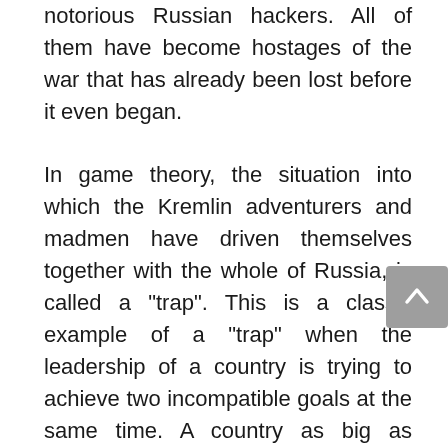notorious Russian hackers. All of them have become hostages of the war that has already been lost before it even began.

In game theory, the situation into which the Kremlin adventurers and madmen have driven themselves together with the whole of Russia, is called a "trap". This is a classic example of a "trap" when the leadership of a country is trying to achieve two incompatible goals at the same time. A country as big as Russia can be either part of western civilization, or degenerate into a sort of North Korea. The second authoritarian option though is impossible for a large country, as it will inevitably lead to its disintegration.